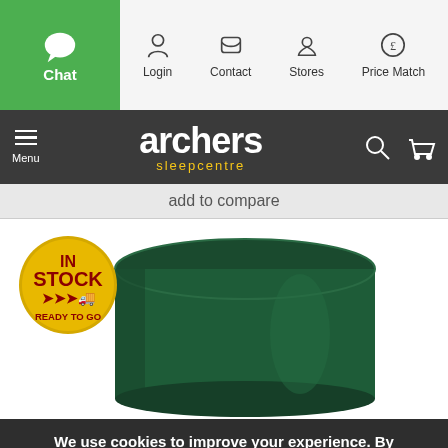Chat | Login | Contact | Stores | Price Match
[Figure (logo): Archers Sleepcentre logo on dark grey navigation bar with hamburger menu, search and basket icons]
add to compare
[Figure (photo): Green velvet cylindrical ottoman/footstool with 'In Stock Ready To Go' badge overlay]
We use cookies to improve your experience. By continuing you agree to the use of our cookies.
ACCEPT AND CLOSE